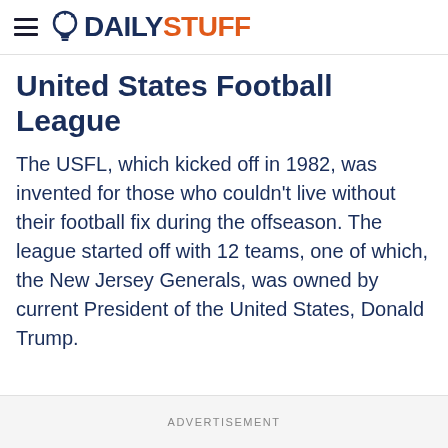DAILYSTUFF
United States Football League
The USFL, which kicked off in 1982, was invented for those who couldn't live without their football fix during the offseason. The league started off with 12 teams, one of which, the New Jersey Generals, was owned by current President of the United States, Donald Trump.
ADVERTISEMENT